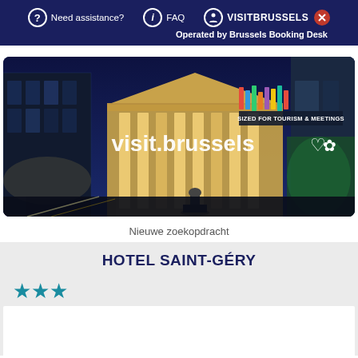Need assistance?   FAQ   VISITBRUSSELS  Operated by Brussels Booking Desk
[Figure (photo): visit.brussels banner image showing illuminated Brussels building at night with text 'SIZED FOR TOURISM & MEETINGS' and 'visit.brussels' logo with heart icon]
Nieuwe zoekopdracht
HOTEL SAINT-GÉRY
★★★ (3 stars)